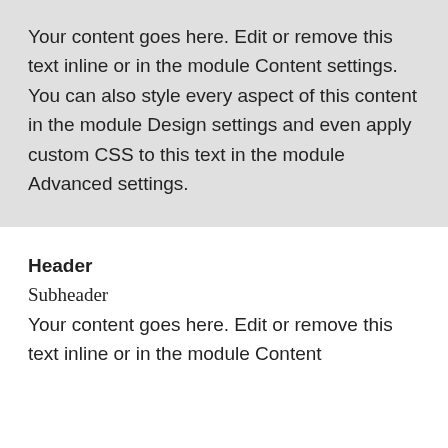Your content goes here. Edit or remove this text inline or in the module Content settings. You can also style every aspect of this content in the module Design settings and even apply custom CSS to this text in the module Advanced settings.
Header
Subheader
Your content goes here. Edit or remove this text inline or in the module Content